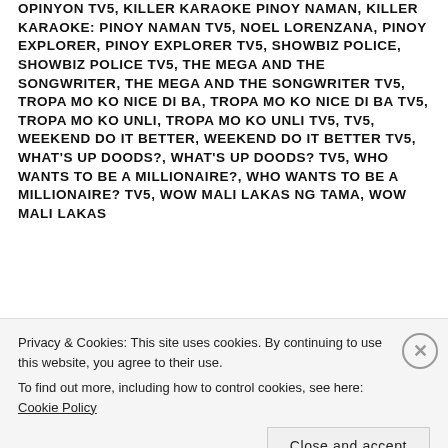OPINYON TV5, KILLER KARAOKE PINOY NAMAN, KILLER KARAOKE: PINOY NAMAN TV5, NOEL LORENZANA, PINOY EXPLORER, PINOY EXPLORER TV5, SHOWBIZ POLICE, SHOWBIZ POLICE TV5, THE MEGA AND THE SONGWRITER, THE MEGA AND THE SONGWRITER TV5, TROPA MO KO NICE DI BA, TROPA MO KO NICE DI BA TV5, TROPA MO KO UNLI, TROPA MO KO UNLI TV5, TV5, WEEKEND DO IT BETTER, WEEKEND DO IT BETTER TV5, WHAT'S UP DOODS?, WHAT'S UP DOODS? TV5, WHO WANTS TO BE A MILLIONAIRE?, WHO WANTS TO BE A MILLIONAIRE? TV5, WOW MALI LAKAS NG TAMA, WOW MALI LAKAS
Privacy & Cookies: This site uses cookies. By continuing to use this website, you agree to their use.
To find out more, including how to control cookies, see here: Cookie Policy